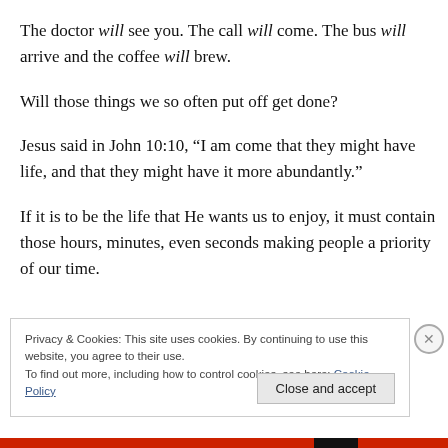The doctor will see you. The call will come. The bus will arrive and the coffee will brew.
Will those things we so often put off get done?
Jesus said in John 10:10, “I am come that they might have life, and that they might have it more abundantly.”
If it is to be the life that He wants us to enjoy, it must contain those hours, minutes, even seconds making people a priority of our time.
Privacy & Cookies: This site uses cookies. By continuing to use this website, you agree to their use.
To find out more, including how to control cookies, see here: Cookie Policy
Close and accept